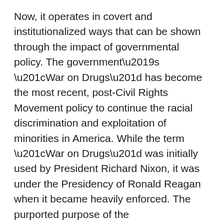Now, it operates in covert and institutionalized ways that can be shown through the impact of governmental policy. The government's “War on Drugs” has become the most recent, post-Civil Rights Movement policy to continue the racial discrimination and exploitation of minorities in America. While the term “War on Drugs” was initially used by President Richard Nixon, it was under the Presidency of Ronald Reagan when it became heavily enforced. The purported purpose of the “war” was to reduce the illegal drug trade, by implementing policies that discouraged the production, distribution, and consumption of illegal drugs. This included imposing restrictive penalties on an individual's liberties for committing drug-related crimes (i.e., losing the right to vote, denial of public benefits), and harsher sentencing guidelines (i.e., “three strikes laws,” mandatory minimums).
Although the appearance of the effort appears racially neutral, its enforcement has had a clear racial bias.